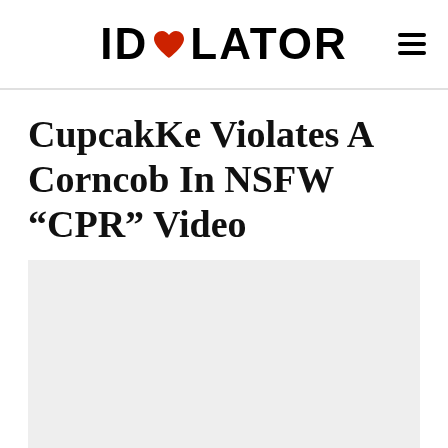IDOLATOR
CupcakKe Violates A Corncob In NSFW “CPR” Video
[Figure (other): Gray video placeholder block for embedded video content]
Mike Wass @mikewassmusic | May 30, 2017 3:15 pm